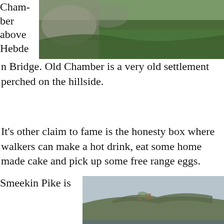[Figure (photo): Aerial or hillside view of green fields and rocky terrain near Hebden Bridge, Old Chamber settlement.]
Chamber above Hebden Bridge. Old Chamber is a very old settlement perched on the hillside.
It's other claim to fame is the honesty box where walkers can make a hot drink, eat some home made cake and pick up some free range eggs.
[Figure (photo): Landscape view of Smeekin Pike with hills and fields under an overcast sky.]
Smeekin Pike is